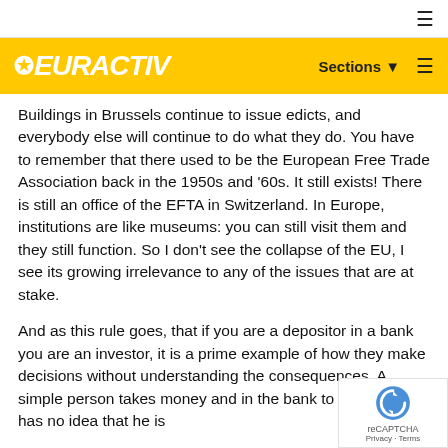EURACTIV — Sections
Buildings in Brussels continue to issue edicts, and everybody else will continue to do what they do. You have to remember that there used to be the European Free Trade Association back in the 1950s and '60s. It still exists! There is still an office of the EFTA in Switzerland. In Europe, institutions are like museums: you can still visit them and they still function. So I don't see the collapse of the EU, I see its growing irrelevance to any of the issues that are at stake.
And as this rule goes, that if you are a depositor in a bank you are an investor, it is a prime example of how they make decisions without understanding the consequences. A simple person takes money and in the bank to be safe. He has no idea that he is